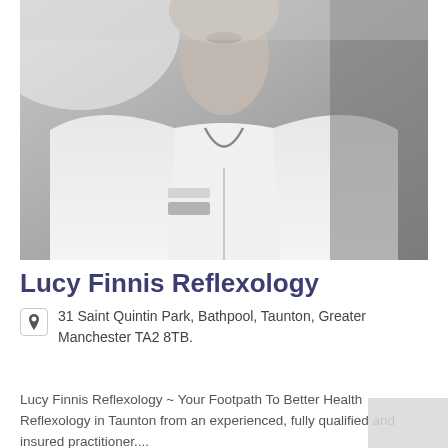[Figure (photo): Black and white close-up photo of a person wearing a white uniform/tunic with a small badge/name tag, cropped at the shoulders showing the chest and lower face area.]
Lucy Finnis Reflexology
31 Saint Quintin Park, Bathpool, Taunton, Greater Manchester TA2 8TB.
Lucy Finnis Reflexology ~ Your Footpath To Better Health Reflexology in Taunton from an experienced, fully qualified and insured practitioner....